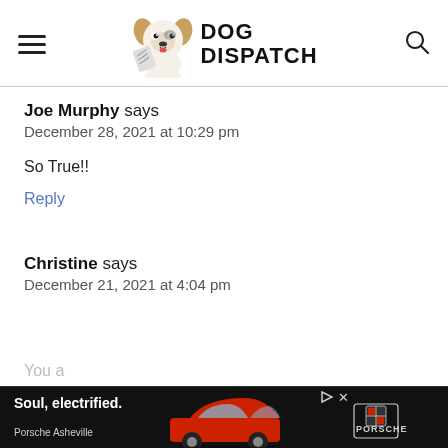DOG DISPATCH
Joe Murphy says
December 28, 2021 at 10:29 pm
So True!!
Reply
Christine says
December 21, 2021 at 4:04 pm
You a
[Figure (infographic): Advertisement banner for Porsche Asheville with text 'Soul, electrified.' and an image of a red Porsche car, with Porsche logo on the right.]